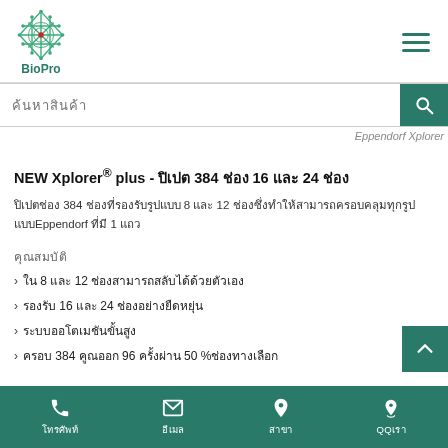[Figure (logo): BioPro logo - green diamond lattice pattern with red center dot, text BioPro below]
[Figure (screenshot): Eppendorf Xplorer product image partially visible at top right]
NEW Xplorer® plus - ปิเปต 384 ช่อง 16 และ 24 ช่อง
ปิเปตช่อง 384 ช่องที่รองรับรูปแบบ 8 และ 12 ช่องซึ่งทำให้สามารถครอบคลุมทุกรูปแบบEppendorf ที่มี 1 แถว
คุณสมบัติ
› ใน 8 และ 12 ช่องสามารถสลับได้ด้วยตัวเอง
› รองรับ 16 และ 24 ช่องอย่างยืดหยุ่น
› ระบบออโตเมชันขั้นสูง
› ครอบ 384 คูณออก 96 ครั้งผ่าน 50 %ช่องทางเลือก
โทรศัพท์ | อีเมล | สาขา | QQเรา